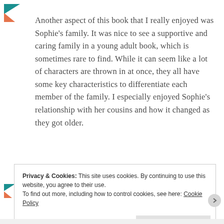Another aspect of this book that I really enjoyed was Sophie's family. It was nice to see a supportive and caring family in a young adult book, which is sometimes rare to find. While it can seem like a lot of characters are thrown in at once, they all have some key characteristics to differentiate each member of the family. I especially enjoyed Sophie's relationship with her cousins and how it changed as they got older.
Privacy & Cookies: This site uses cookies. By continuing to use this website, you agree to their use. To find out more, including how to control cookies, see here: Cookie Policy